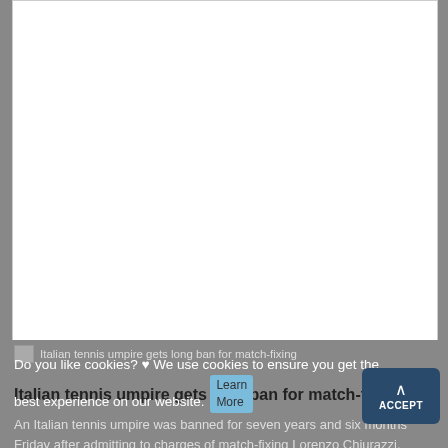[Figure (other): Large white content area (image/article content not visible)]
Italian tennis umpire gets long ban for match-fixing
Do you like cookies? ♥ We use cookies to ensure you get the best experience on our website. Learn More
Italian tennis umpire gets long ban for match-fixing
An Italian tennis umpire was banned for seven years and six months Friday after admitting to charges of match-fixing Lorenzo Chiurazzi, a